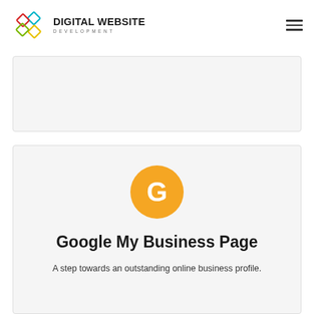DIGITAL WEBSITE DEVELOPMENT
[Figure (other): Partial card placeholder at the top of content area, light gray background with border]
[Figure (logo): Orange circle with white letter G (Google icon)]
Google My Business Page
A step towards an outstanding online business profile.